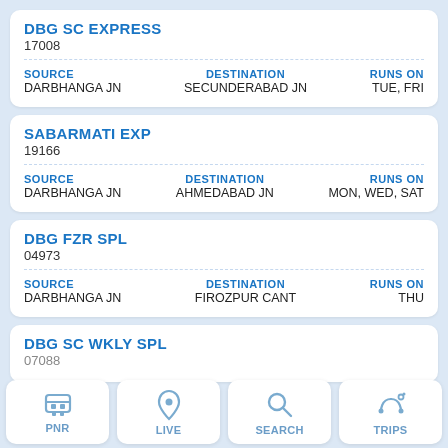DBG SC EXPRESS
17008
| SOURCE | DESTINATION | RUNS ON |
| --- | --- | --- |
| DARBHANGA JN | SECUNDERABAD JN | TUE, FRI |
SABARMATI EXP
19166
| SOURCE | DESTINATION | RUNS ON |
| --- | --- | --- |
| DARBHANGA JN | AHMEDABAD JN | MON, WED, SAT |
DBG FZR SPL
04973
| SOURCE | DESTINATION | RUNS ON |
| --- | --- | --- |
| DARBHANGA JN | FIROZPUR CANT | THU |
DBG SC WKLY SPL
PNR | LIVE | SEARCH | TRIPS